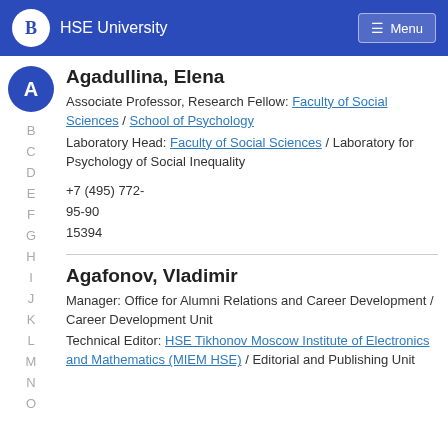HSE University  Menu
Agadullina, Elena
Associate Professor, Research Fellow: Faculty of Social Sciences / School of Psychology
Laboratory Head: Faculty of Social Sciences / Laboratory for Psychology of Social Inequality
+7 (495) 772-95-90
15394
Agafonov, Vladimir
Manager: Office for Alumni Relations and Career Development / Career Development Unit
Technical Editor: HSE Tikhonov Moscow Institute of Electronics and Mathematics (MIEM HSE) / Editorial and Publishing Unit